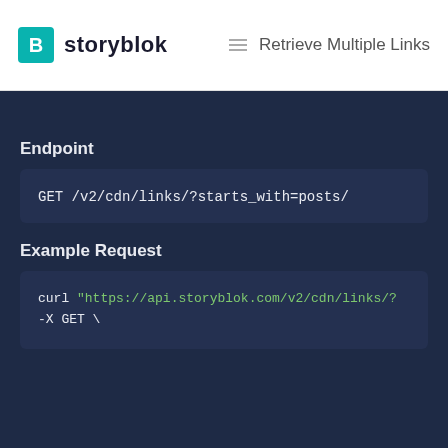storyblok — Retrieve Multiple Links
Endpoint
GET /v2/cdn/links/?starts_with=posts/
Example Request
curl "https://api.storyblok.com/v2/cdn/links/?
-X GET \